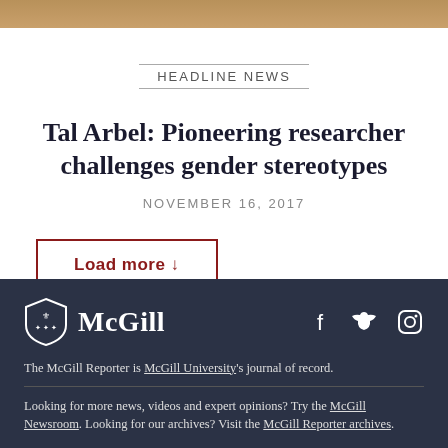[Figure (photo): Partial photo strip at top of page, warm brown/amber tones]
HEADLINE NEWS
Tal Arbel: Pioneering researcher challenges gender stereotypes
NOVEMBER 16, 2017
Load more ↓
The McGill Reporter is McGill University's journal of record. Looking for more news, videos and expert opinions? Try the McGill Newsroom. Looking for our archives? Visit the McGill Reporter archives.